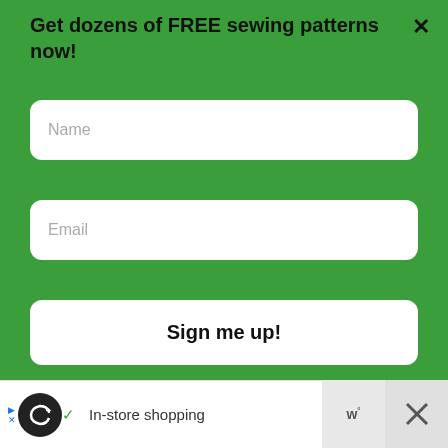Get dozens of FREE sewing patterns now!
[Figure (screenshot): Name input field placeholder]
[Figure (screenshot): Email input field placeholder]
[Figure (screenshot): Sign me up! button]
[Figure (screenshot): Collage of sewing/DIY project images with text: 64+ Creative DIY Projects for]
WHAT'S NEXT → Cucicucicoo Recommend...
In-store shopping
[Figure (screenshot): Advertisement bar with in-store shopping text and navigation icon]